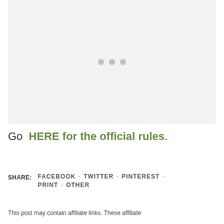[Figure (other): Placeholder image area with three gray dots indicating loading or missing image]
Go HERE for the official rules.
SHARE: FACEBOOK - TWITTER - PINTEREST - PRINT - OTHER
This post may contain affiliate links. These affiliate